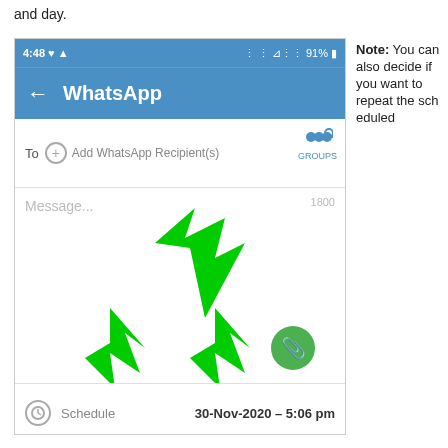and day.
[Figure (screenshot): WhatsApp scheduling interface showing To field with Add WhatsApp Recipient(s) and GROUPS button, Message field with 1800 character count, green arrows pointing to To field and two schedule/attachment areas, Schedule row showing 30-Nov-2020 - 5:06 pm, and Repeat row showing No Repeat dropdown.]
Note: You can also decide if you want to repeat the scheduled